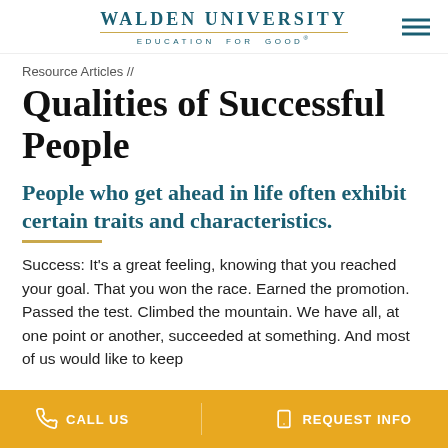WALDEN UNIVERSITY EDUCATION FOR GOOD®
Resource Articles //
Qualities of Successful People
People who get ahead in life often exhibit certain traits and characteristics.
Success: It's a great feeling, knowing that you reached your goal. That you won the race. Earned the promotion. Passed the test. Climbed the mountain. We have all, at one point or another, succeeded at something. And most of us would like to keep
CALL US   REQUEST INFO